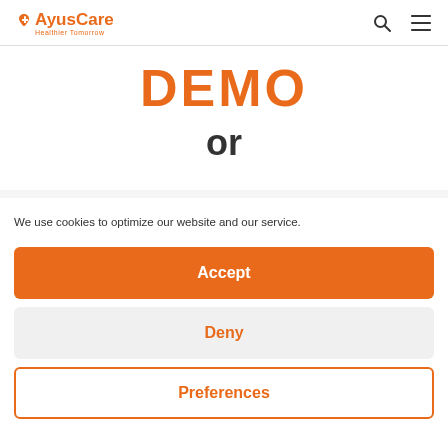AyusCare — Healthier Tomorrow
DEMO
or
We use cookies to optimize our website and our service.
Accept
Deny
Preferences